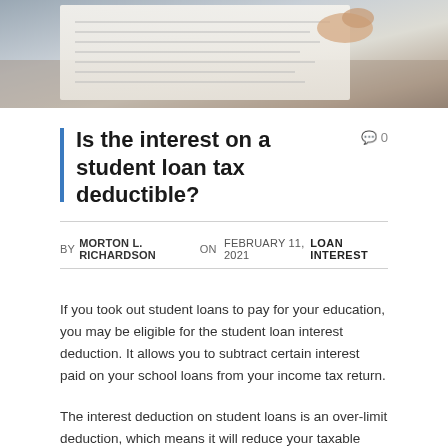[Figure (photo): A photo of hands over tax/financial documents, viewed from above on a wooden surface.]
Is the interest on a student loan tax deductible?
BY MORTON L. RICHARDSON ON FEBRUARY 11, 2021   LOAN INTEREST
If you took out student loans to pay for your education, you may be eligible for the student loan interest deduction. It allows you to subtract certain interest paid on your school loans from your income tax return.
The interest deduction on student loans is an over-limit deduction, which means it will reduce your taxable income. You can claim the tax deduction without itemizing, and it will reduce your adjusted